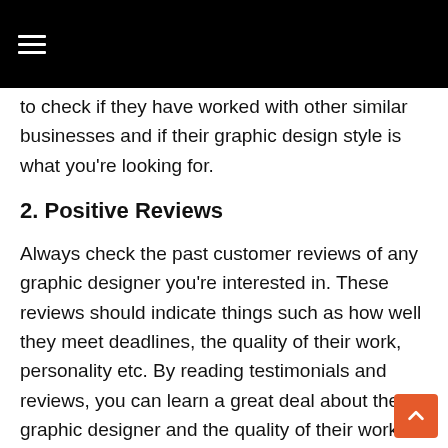≡
to check if they have worked with other similar businesses and if their graphic design style is what you're looking for.
2. Positive Reviews
Always check the past customer reviews of any graphic designer you're interested in. These reviews should indicate things such as how well they meet deadlines, the quality of their work, personality etc. By reading testimonials and reviews, you can learn a great deal about the graphic designer and the quality of their work. You should think about calling a couple of their past customers and finding out first hand about